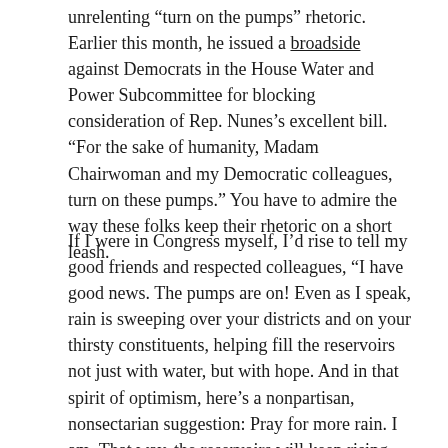unrelenting “turn on the pumps” rhetoric. Earlier this month, he issued a broadside against Democrats in the House Water and Power Subcommittee for blocking consideration of Rep. Nunes’s excellent bill. “For the sake of humanity, Madam Chairwoman and my Democratic colleagues, turn on these pumps.” You have to admire the way these folks keep their rhetoric on a short leash.
If I were in Congress myself, I’d rise to tell my good friends and respected colleagues, “I have good news. The pumps are on! Even as I speak, rain is sweeping over your districts and on your thirsty constituents, helping fill the reservoirs not just with water, but with hope. And in that spirit of optimism, here’s a nonpartisan, nonsectarian suggestion: Pray for more rain. I am. That way, the reservoirs will keep rising, agriculture will get its water, and maybe there will be some left over for smelt and salmon and the thousands of people who depend on